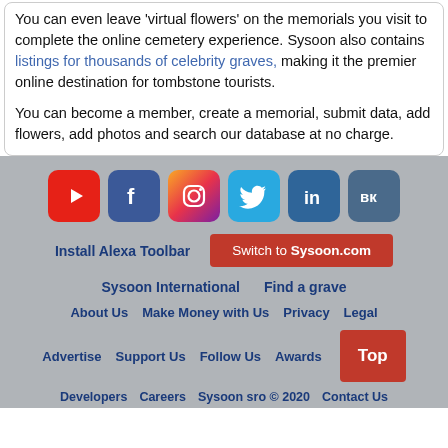You can even leave 'virtual flowers' on the memorials you visit to complete the online cemetery experience. Sysoon also contains listings for thousands of celebrity graves, making it the premier online destination for tombstone tourists.
You can become a member, create a memorial, submit data, add flowers, add photos and search our database at no charge.
[Figure (infographic): Row of social media icons: YouTube (red), Facebook (blue), Instagram (gradient), Twitter (light blue), LinkedIn (blue), VK (dark blue-grey)]
Install Alexa Toolbar
Switch to Sysoon.com
Sysoon International   Find a grave
About Us   Make Money with Us   Privacy   Legal
Advertise   Support Us   Follow Us   Awards   Top
Developers   Careers   Sysoon sro © 2020   Contact Us